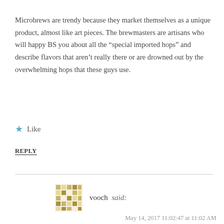Microbrews are trendy because they market themselves as a unique product, almost like art pieces. The brewmasters are artisans who will happy BS you about all the “special imported hops” and describe flavors that aren’t really there or are drowned out by the overwhelming hops that these guys use.
★ Like
REPLY
vooch said:
May 14, 2017 11:02:47 at 11:02 AM
microbrews are successful when they are really just pubs with a small brewery out back.
They also are successful when the downtowns gentrify. Appears Richmond is succesfully experiencing a renaissance.
The grumpy old guy yelling at clouds in Mish’s first report sure is in for a shocker when he tries to